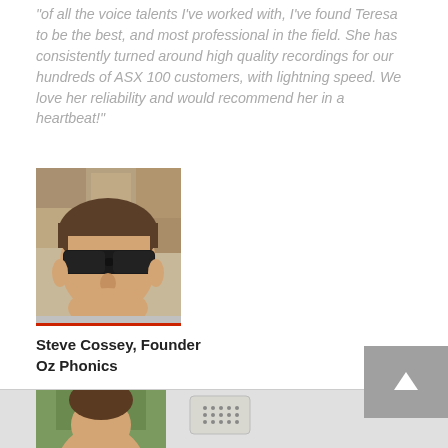"of all the voice talents I've worked with, I've found Teresa to be the best, and most professional in the field. She has consistently turned around high quality recordings for our hundreds of ASX 100 customers, with lightning speed. We love her reliability and would recommend her in a heartbeat!"
[Figure (photo): Headshot photo of Steve Cossey, a man wearing dark sunglasses, photographed outdoors with a stone wall background]
Steve Cossey, Founder
Oz Phonics
"Due to her reliability and the quality of her work, Teresa has become a key supplier of voiceover services to DSP Learning. Many of our educational apps have been featured by Apple and Teresa's quality voiceover has certainly contributed much to that achievement."
[Figure (photo): Partial view of a person's photo at the bottom of the page, partially cut off]